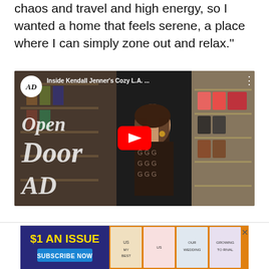chaos and travel and high energy, so I wanted a home that feels serene, a place where I can simply zone out and relax."
[Figure (screenshot): YouTube video thumbnail for 'Inside Kendall Jenner's Cozy L.A. ...' from AD Open Door series. Shows Kendall Jenner in a patterned top standing in front of a closet with shelves of shoes. The AD (Architectural Digest) logo is in the top-left corner. A red YouTube play button is centered. Text overlay reads 'Open Door AD' in large italic serif font.]
[Figure (screenshot): Advertisement banner at bottom of page showing '$1 AN ISSUE' with 'SUBSCRIBE NOW' button in blue, and several magazine cover thumbnails in colorful background.]